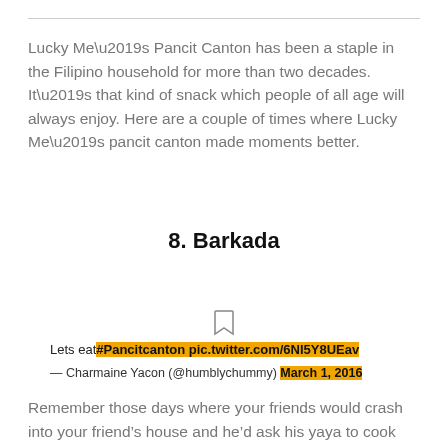Lucky Me’s Pancit Canton has been a staple in the Filipino household for more than two decades. It’s that kind of snack which people of all age will always enjoy. Here are a couple of times where Lucky Me’s pancit canton made moments better.
8. Barkada
[Figure (other): Bookmark/save icon]
Lets eat #Pancitcanton pic.twitter.com/6NI5Y8UEav — Charmaine Yacon (@humblychummy) March 1, 2016
Remember those days where your friends would crash into your friend’s house and he’d ask his yaya to cook about 3-4 packs of pancit canton?